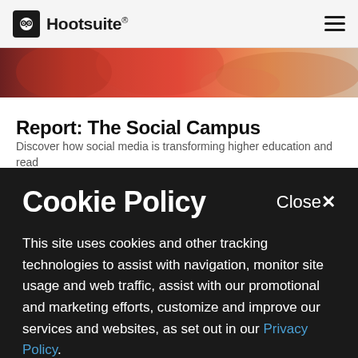Hootsuite
[Figure (photo): Partial hero image with warm orange/red tones, cropped at top]
Report: The Social Campus
Discover how social media is transforming higher education and read
Cookie Policy
Close✕
This site uses cookies and other tracking technologies to assist with navigation, monitor site usage and web traffic, assist with our promotional and marketing efforts, customize and improve our services and websites, as set out in our Privacy Policy.